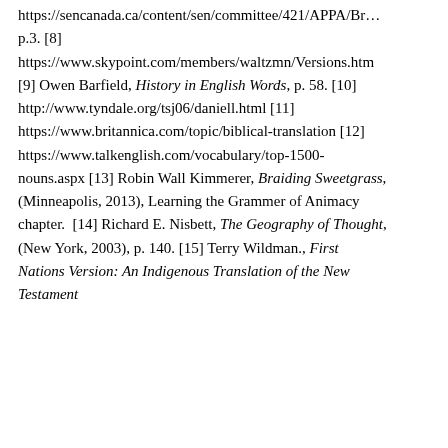https://sencanada.ca/content/sen/committee/421/APPA/Br… p.3. [8] https://www.skypoint.com/members/waltzmn/Versions.htm [9] Owen Barfield, History in English Words, p. 58. [10] http://www.tyndale.org/tsj06/daniell.html [11] https://www.britannica.com/topic/biblical-translation [12] https://www.talkenglish.com/vocabulary/top-1500-nouns.aspx [13] Robin Wall Kimmerer, Braiding Sweetgrass, (Minneapolis, 2013), Learning the Grammer of Animacy chapter.  [14] Richard E. Nisbett, The Geography of Thought, (New York, 2003), p. 140. [15] Terry Wildman., First Nations Version: An Indigenous Translation of the New Testament